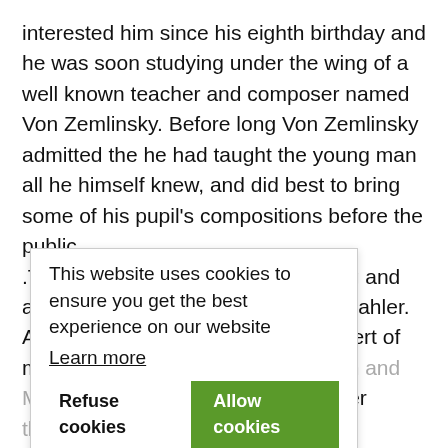interested him since his eighth birthday and he was soon studying under the wing of a well known teacher and composer named Von Zemlinsky. Before long Von Zemlinsky admitted the he had taught the young man all he himself knew, and did best to bring some of his pupil's compositions before the public. .They tell a story about. Schoenberg and another colleague of his, Gustave Mahler. About 1913 Schoenberg ran a concert of modern music in which both his own and Mahler's works were presented. After the angered audience had hissed a Schoenberg composition, it was time for Mahler. Arnold Schoenberg rushed onto the stage and held up his hand for quiet: "Please! You may react any way you wish toward my music... but please, let there be more quiet fitting for the performance of so great a composer as Gustave Mahler!"
This website uses cookies to ensure you get the best experience on our website Learn more Refuse cookies Allow cookies